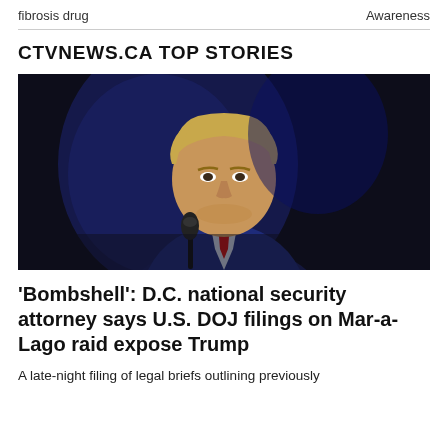fibrosis drug    Awareness
CTVNEWS.CA TOP STORIES
[Figure (photo): A man in a dark suit with a red tie speaking at a podium with a microphone, photographed against a dark blue background.]
'Bombshell': D.C. national security attorney says U.S. DOJ filings on Mar-a-Lago raid expose Trump
A late-night filing of legal briefs outlining previously